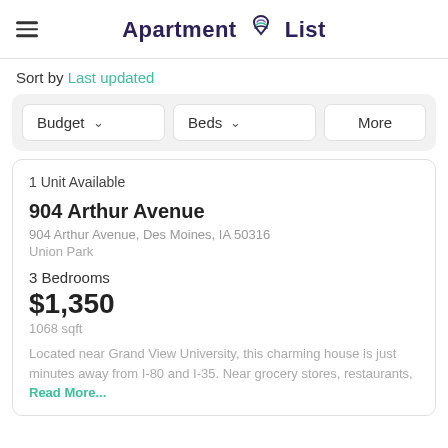Apartment List
Sort by Last updated
Budget   Beds   More
1 Unit Available
904 Arthur Avenue
904 Arthur Avenue, Des Moines, IA 50316
Union Park
3 Bedrooms
$1,350
1068 sqft
Located near Grand View University, this charming house is just minutes away from I-80 and I-35. Near grocery stores, restaurants, Read More...